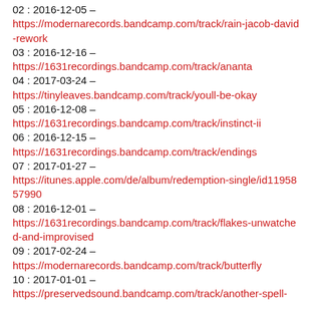02 : 2016-12-05 – https://modernarecords.bandcamp.com/track/rain-jacob-david-rework
03 : 2016-12-16 – https://1631recordings.bandcamp.com/track/ananta
04 : 2017-03-24 – https://tinyleaves.bandcamp.com/track/youll-be-okay
05 : 2016-12-08 – https://1631recordings.bandcamp.com/track/instinct-ii
06 : 2016-12-15 – https://1631recordings.bandcamp.com/track/endings
07 : 2017-01-27 – https://itunes.apple.com/de/album/redemption-single/id1195857990
08 : 2016-12-01 – https://1631recordings.bandcamp.com/track/flakes-unwatched-and-improvised
09 : 2017-02-24 – https://modernarecords.bandcamp.com/track/butterfly
10 : 2017-01-01 – https://preservedsound.bandcamp.com/track/another-spell-